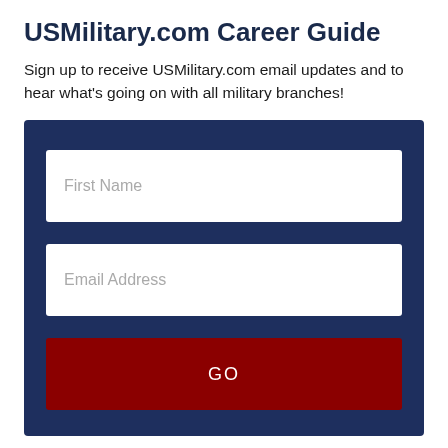USMilitary.com Career Guide
Sign up to receive USMilitary.com email updates and to hear what's going on with all military branches!
[Figure (screenshot): A dark navy blue signup form with two white input fields labeled 'First Name' and 'Email Address', and a dark red button labeled 'GO']